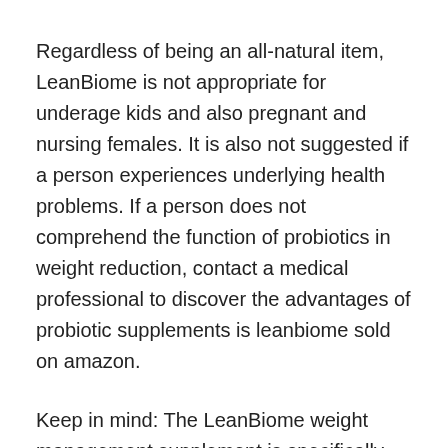Regardless of being an all-natural item, LeanBiome is not appropriate for underage kids and also pregnant and nursing females. It is also not suggested if a person experiences underlying health problems. If a person does not comprehend the function of probiotics in weight reduction, contact a medical professional to discover the advantages of probiotic supplements is leanbiome sold on amazon.
Keep in mind: The LeanBiome weight management supplement is specifically available online and also can be purchased through the main web site at a discounted expense using this link.